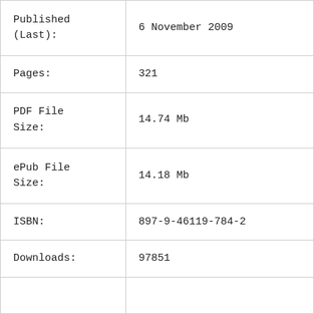| Field | Value |
| --- | --- |
| Published (Last): | 6 November 2009 |
| Pages: | 321 |
| PDF File Size: | 14.74 Mb |
| ePub File Size: | 14.18 Mb |
| ISBN: | 897-9-46119-784-2 |
| Downloads: | 97851 |